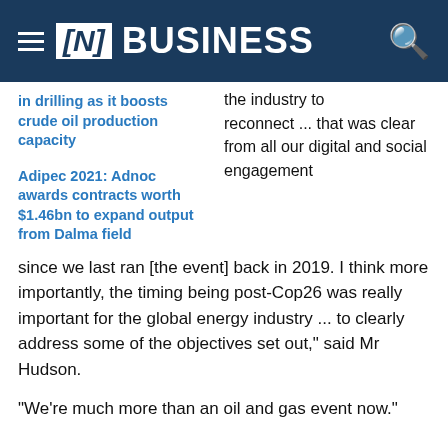[N] BUSINESS
in drilling as it boosts crude oil production capacity
the industry to reconnect ... that was clear from all our digital and social engagement
Adipec 2021: Adnoc awards contracts worth $1.46bn to expand output from Dalma field
since we last ran [the event] back in 2019. I think more importantly, the timing being post-Cop26 was really important for the global energy industry ... to clearly address some of the objectives set out," said Mr Hudson.
"We're much more than an oil and gas event now."